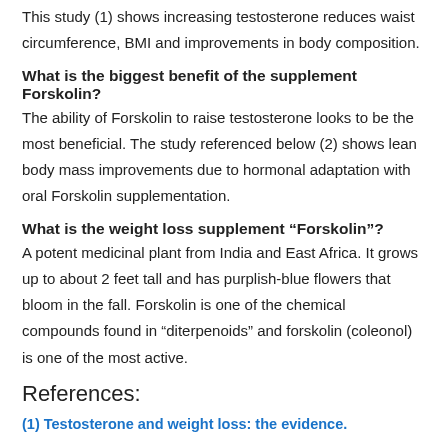This study (1) shows increasing testosterone reduces waist circumference, BMI and improvements in body composition.
What is the biggest benefit of the supplement Forskolin?
The ability of Forskolin to raise testosterone looks to be the most beneficial. The study referenced below (2) shows lean body mass improvements due to hormonal adaptation with oral Forskolin supplementation.
What is the weight loss supplement “Forskolin”?
A potent medicinal plant from India and East Africa. It grows up to about 2 feet tall and has purplish-blue flowers that bloom in the fall. Forskolin is one of the chemical compounds found in “diterpenoids” and forskolin (coleonol) is one of the most active.
References:
(1) Testosterone and weight loss: the evidence.